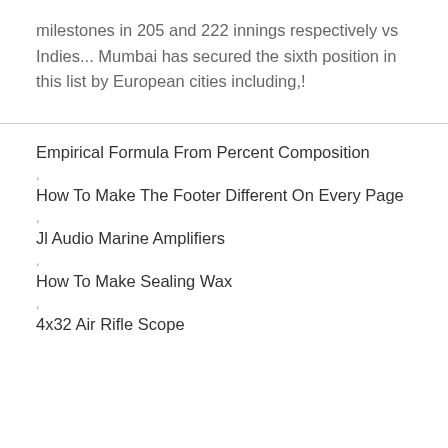milestones in 205 and 222 innings respectively vs Indies... Mumbai has secured the sixth position in this list by European cities including,!
Empirical Formula From Percent Composition
How To Make The Footer Different On Every Page
Jl Audio Marine Amplifiers
How To Make Sealing Wax
4x32 Air Rifle Scope